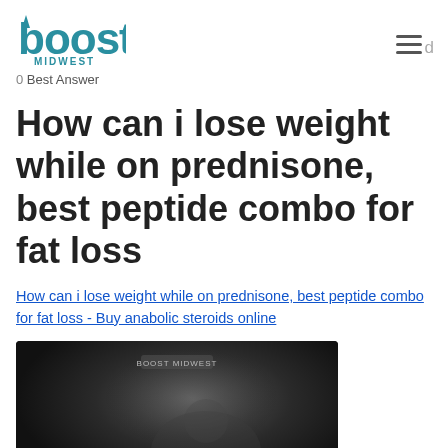Boost Midwest logo and navigation
0 Best Answer
How can i lose weight while on prednisone, best peptide combo for fat loss
How can i lose weight while on prednisone, best peptide combo for fat loss - Buy anabolic steroids online
[Figure (photo): Dark blurred background image, partially visible]